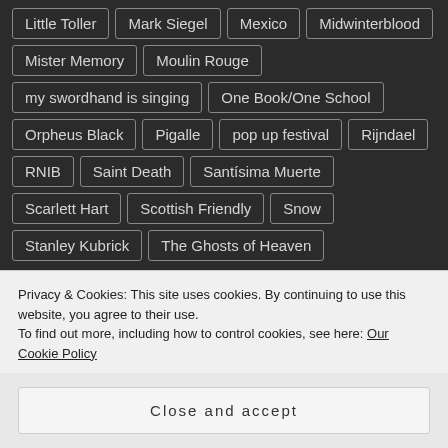Little Toller
Mark Siegel
Mexico
Midwinterblood
Mister Memory
Moulin Rouge
my swordhand is singing
One Book/One School
Orpheus Black
Pigalle
pop up festival
Rijndael
RNIB
Saint Death
Santísima Muerte
Scarlett Hart
Scottish Friendly
Snow
Stanley Kubrick
The Ghosts of Heaven
Privacy & Cookies: This site uses cookies. By continuing to use this website, you agree to their use.
To find out more, including how to control cookies, see here: Our Cookie Policy
Close and accept